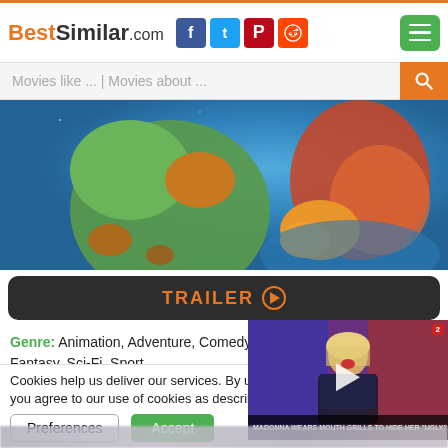BestSimilar.com
Movies like ... | Movies about ...
[Figure (screenshot): Animated movie scene showing cartoon characters including what appears to be a green alien and Daffy Duck on a blue background]
TRAILER ▶
Genre: Animation, Adventure, Comedy, Family, Fantasy, Sci-Fi, Sport
Country: USA
Duration: 88 min
Cookies help us deliver our services. By us... you agree to our use of cookies as describe...
[Figure (photo): Video overlay showing a woman (Madonna) at an event, with caption: MADONNA WEARS MOUTH GRILLS TO HIDE HER 'UGLY' TEETH]